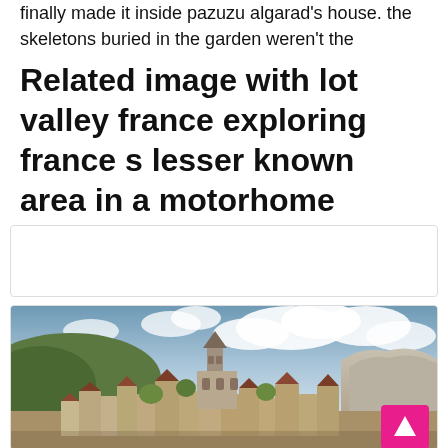finally made it inside pazuzu algarad's house. the skeletons buried in the garden weren't the
Related image with lot valley france exploring france s lesser known area in a motorhome
[Figure (other): Empty white box with light border]
[Figure (photo): Photograph of a medieval French village (likely Saint-Cirq-Lapopie in the Lot Valley) showing stone buildings, a church bell tower, and limestone cliffs under a cloudy sky]